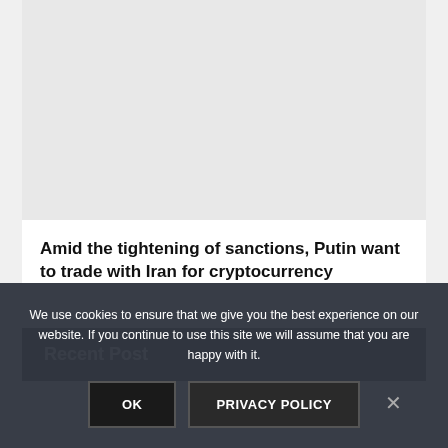[Figure (photo): Gray placeholder image area at top of article card]
Amid the tightening of sanctions, Putin want to trade with Iran for cryptocurrency
Recent Post
We use cookies to ensure that we give you the best experience on our website. If you continue to use this site we will assume that you are happy with it.
OK
PRIVACY POLICY